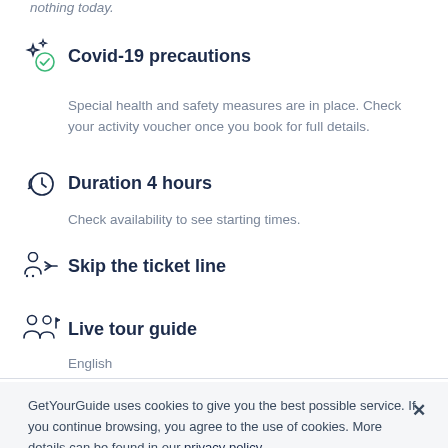nothing today.
Covid-19 precautions
Special health and safety measures are in place. Check your activity voucher once you book for full details.
Duration 4 hours
Check availability to see starting times.
Skip the ticket line
Live tour guide
English
GetYourGuide uses cookies to give you the best possible service. If you continue browsing, you agree to the use of cookies. More details can be found in our privacy policy.